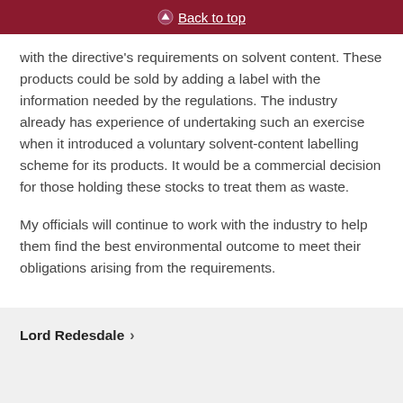Back to top
with the directive's requirements on solvent content. These products could be sold by adding a label with the information needed by the regulations. The industry already has experience of undertaking such an exercise when it introduced a voluntary solvent-content labelling scheme for its products. It would be a commercial decision for those holding these stocks to treat them as waste.
My officials will continue to work with the industry to help them find the best environmental outcome to meet their obligations arising from the requirements.
Lord Redesdale